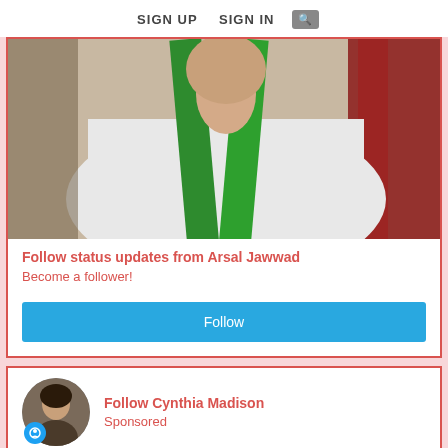SIGN UP   SIGN IN   🔍
[Figure (photo): Person wearing white clothing with a green sash/strap across the chest, seated near red decorative fabric]
Follow status updates from Arsal Jawwad
Become a follower!
Follow
[Figure (photo): Circular avatar photo of a person (Cynthia Madison profile picture)]
Follow Cynthia Madison
Sponsored
[Figure (photo): Partial photo of a person with dark hair, blurred background]